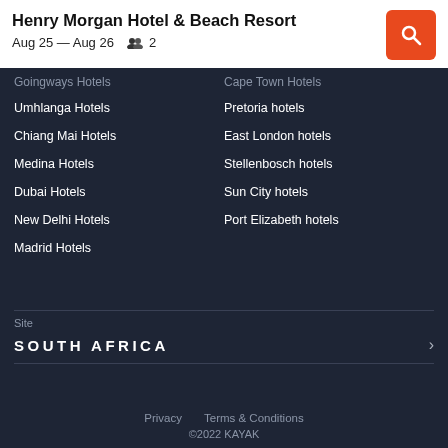Henry Morgan Hotel & Beach Resort
Aug 25 — Aug 26    2
Umhlanga Hotels
Chiang Mai Hotels
Medina Hotels
Dubai Hotels
New Delhi Hotels
Madrid Hotels
Pretoria hotels
East London hotels
Stellenbosch hotels
Sun City hotels
Port Elizabeth hotels
Site
SOUTH AFRICA
Privacy    Terms & Conditions
©2022 KAYAK